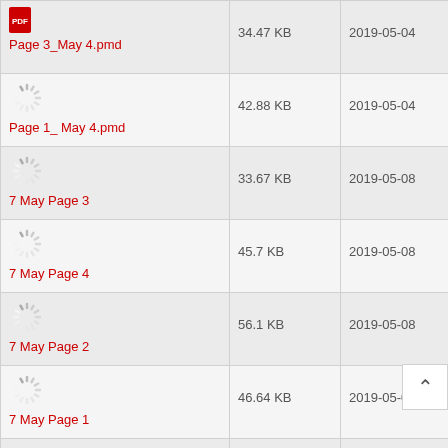| File | Size | Date |
| --- | --- | --- |
| Page 3_May 4.pmd | 34.47 KB | 2019-05-04 |
| Page 1_ May 4.pmd | 42.88 KB | 2019-05-04 |
| 7 May Page 3 | 33.67 KB | 2019-05-08 |
| 7 May Page 4 | 45.7 KB | 2019-05-08 |
| 7 May Page 2 | 56.1 KB | 2019-05-08 |
| 7 May Page 1 | 46.64 KB | 2019-05-08 |
|  |  |  |